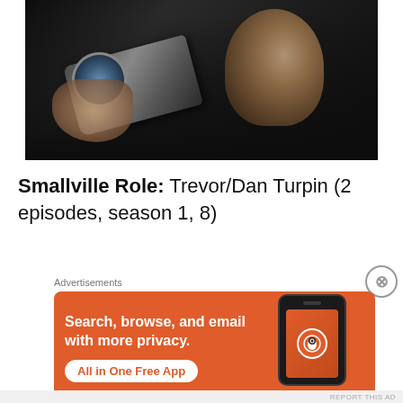[Figure (photo): A man in a dark jacket holding a camera or gun up close to his face in a dark scene. The image is taken from a TV show or movie still.]
Smallville Role: Trevor/Dan Turpin (2 episodes, season 1, 8)
Advertisements
[Figure (other): DuckDuckGo advertisement banner. Orange background with white text: 'Search, browse, and email with more privacy. All in One Free App'. Shows a phone mockup with DuckDuckGo logo.]